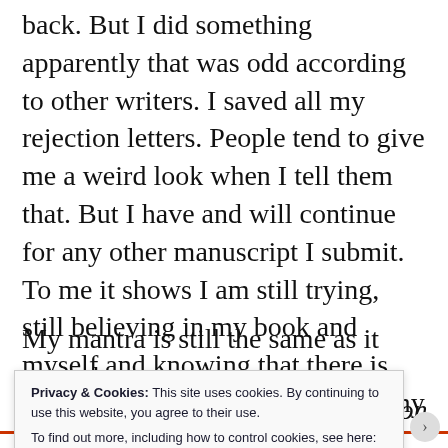back. But I did something apparently that was odd according to other writers. I saved all my rejection letters. People tend to give me a weird look when I tell them that. But I have and will continue for any other manuscript I submit. To me it shows I am still trying, still believing in my book and myself and knowing that there is bound to be someone who loves my book as much as I do.
My mantra is still the same as it was when started. All I need is one yes, just one. In fact I
Privacy & Cookies: This site uses cookies. By continuing to use this website, you agree to their use.
To find out more, including how to control cookies, see here: Cookie Policy